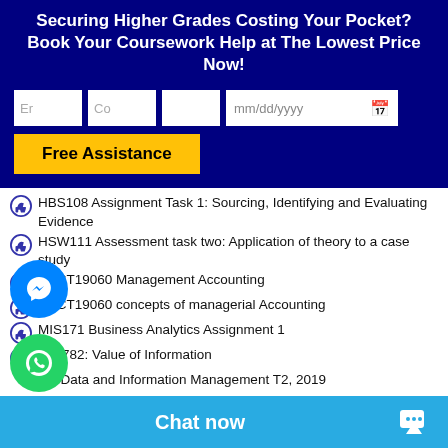Securing Higher Grades Costing Your Pocket? Book Your Coursework Help at The Lowest Price Now!
[Figure (screenshot): Form with email, country, blank field, date picker inputs and a Free Assistance button on dark blue background]
HBS108 Assignment Task 1: Sourcing, Identifying and Evaluating Evidence
HSW111 Assessment task two: Application of theory to a case study
ACCT19060 Management Accounting
ACCT19060 concepts of managerial Accounting
MIS171 Business Analytics Assignment 1
MIS782: Value of Information
3 – Data and Information Management T2, 2019
SIT103 Database and Information Retrieval
SIT123: Data Capture Technologies Lab 1
SIT123: Data Capture Technologies Lab 2
SIT123: Data Capture Te...
SIT003 Trimester 1 Assi...